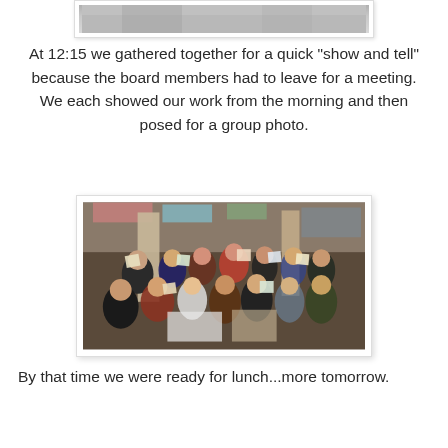[Figure (photo): Top portion of a cropped photo, showing the upper edge of a scene]
At 12:15 we gathered together for a quick "show and tell" because the board members had to leave for a meeting. We each showed our work from the morning and then posed for a group photo.
[Figure (photo): Group photo of approximately 20 people sitting and standing together in an indoor space (appears to be a mall or atrium), many holding up artwork/drawings they created during the morning session.]
By that time we were ready for lunch...more tomorrow.